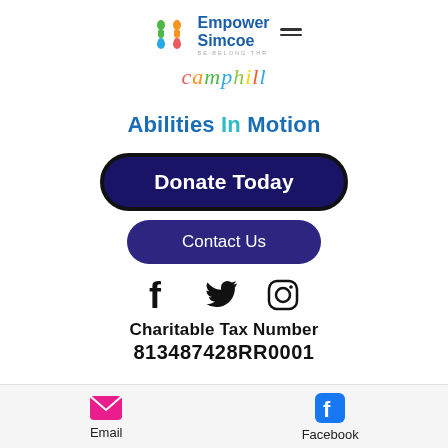[Figure (logo): Empower Simcoe logo with colorful people icon and text 'Empower Simcoe - BE·BELONG·THR...' with hamburger menu icon]
[Figure (logo): camphill logo in colorful italic script letters]
Abilities In Motion
[Figure (other): Donate Today button - dark navy rounded rectangle with bold white text]
[Figure (other): Contact Us button - dark purple rounded rectangle with white text]
[Figure (other): Social media icons: Facebook, Twitter, Instagram]
Charitable Tax Number
813487428RR0001
Email   Facebook